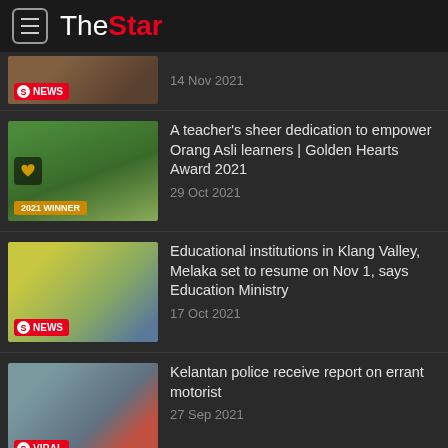The Star
14 Nov 2021
[Figure (photo): Partially visible news thumbnail with NEWS badge]
A teacher's sheer dedication to empower Orang Asli learners | Golden Hearts Award 2021
29 Oct 2021
[Figure (photo): Children outdoors near trees, with 2021 WINNER badge]
Educational institutions in Klang Valley, Melaka set to resume on Nov 1, says Education Ministry
17 Oct 2021
[Figure (photo): Classroom scene with students and teacher, NEWS badge]
Kelantan police receive report on errant motorist
27 Sep 2021
[Figure (photo): Cars on road with flags, VIRAL badge]
12MP: Half of growth expenditure to be allocated to six least developed...